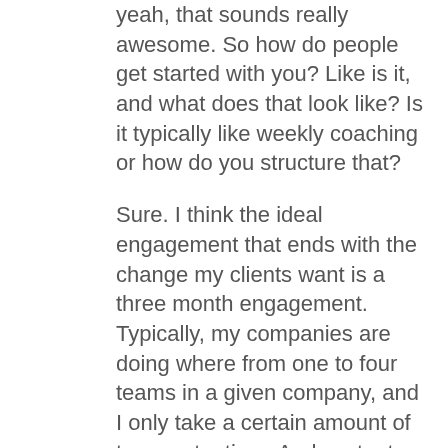yeah, that sounds really awesome. So how do people get started with you? Like is it, and what does that look like? Is it typically like weekly coaching or how do you structure that?
Sure. I think the ideal engagement that ends with the change my clients want is a three month engagement. Typically, my companies are doing where from one to four teams in a given company, and I only take a certain amount of teams at a time. And we try to get through what I call three discovery cycles in that time period. And I want them ... these are what we would call larger cycles. I certainly want them to be doing smaller cycles. But in that three month period, we're going to do weekly coaching at the individual level
Jim Morris: